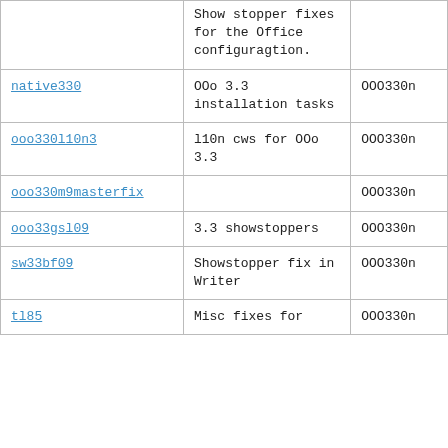|  | Show stopper fixes for the Office configuragtion. |  |
| native330 | OOo 3.3 installation tasks | OOO330n |
| ooo330l10n3 | l10n cws for OOo 3.3 | OOO330n |
| ooo330m9masterfix |  | OOO330n |
| ooo33gsl09 | 3.3 showstoppers | OOO330n |
| sw33bf09 | Showstopper fix in Writer | OOO330n |
| tl85 | Misc fixes for | OOO330n |